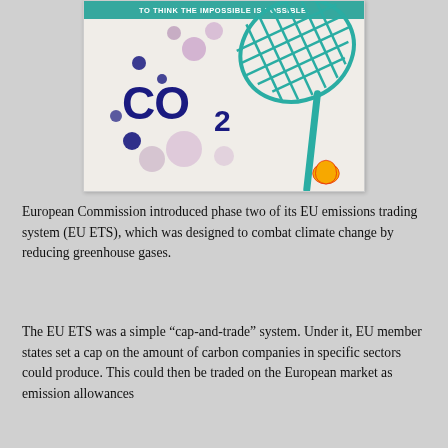[Figure (illustration): Shell-branded illustration showing CO2 text in dark blue bubble-letters with purple circular bubbles and a teal butterfly/lacrosse net catching them, on a light background. Top teal banner reads 'TO THINK THE IMPOSSIBLE IS POSSIBLE.' Shell logo in bottom-right corner.]
European Commission introduced phase two of its EU emissions trading system (EU ETS), which was designed to combat climate change by reducing greenhouse gases.
The EU ETS was a simple “cap-and-trade” system. Under it, EU member states set a cap on the amount of carbon companies in specific sectors could produce. This could then be traded on the European market as emission allowances